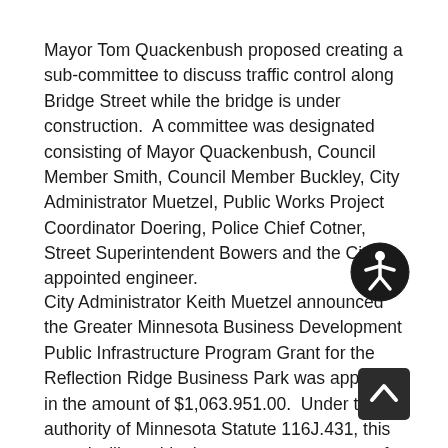Mayor Tom Quackenbush proposed creating a sub-committee to discuss traffic control along Bridge Street while the bridge is under construction.  A committee was designated consisting of Mayor Quackenbush, Council Member Smith, Council Member Buckley, City Administrator Muetzel, Public Works Project Coordinator Doering, Police Chief Cotner, Street Superintendent Bowers and the City's appointed engineer.
[Figure (illustration): Accessibility icon: black circle with white outline of a person with outstretched arms (wheelchair accessibility symbol)]
City Administrator Keith Muetzel announced the Greater Minnesota Business Development Public Infrastructure Program Grant for the Reflection Ridge Business Park was approved in the amount of $1,063.951.00.  Under the authority of Minnesota Statute 116J.431, this award will provide the necessary resources for continued economic growth and enhance employment in the community and surrounding areas.
[Figure (illustration): Scroll-to-top button: dark gray rounded rectangle with white upward-pointing chevron arrow]